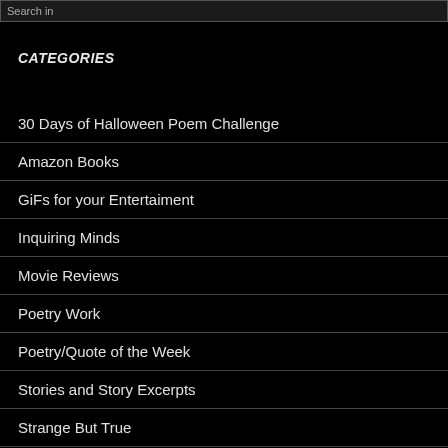Search in
CATEGORIES
30 Days of Halloween Poem Challenge
Amazon Books
GiFs for your Entertaiment
Inquiring Minds
Movie Reviews
Poetry Work
Poetry/Quote of the Week
Stories and Story Excerpts
Strange But True
The EROTIC ZONE